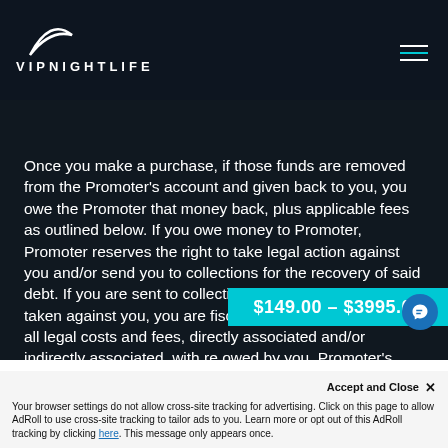[Figure (logo): VIP Nightlife logo with crescent moon above the text VIPNIGHTLIFE in white on dark background, with hamburger menu icon top right]
Once you make a purchase, if those funds are removed from the Promoter's account and given back to you, you owe the Promoter that money back, plus applicable fees as outlined below. If you owe money to Promoter, Promoter reserves the right to take legal action against you and/or send you to collections for the recovery of said debt. If you are sent to collection or there is legal action taken against you, you are fiscally responsible for any and all legal costs and fees, directly associated and/or indirectly associated, with re­ owed by you. Promoter's collection's the right to negatively affect your pe
$149.00 - $3995.00
Accept and Close ✕
Your browser settings do not allow cross-site tracking for advertising. Click on this page to allow AdRoll to use cross-site tracking to tailor ads to you. Learn more or opt out of this AdRoll tracking by clicking here. This message only appears once.